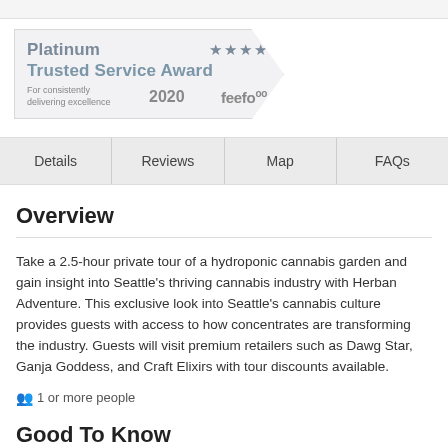[Figure (logo): Platinum Trusted Service Award badge with 4 stars, year 2020, and Feefo logo. Text reads: Platinum, Trusted Service Award, For consistently delivering excellence, 2020, feefo]
| Details | Reviews | Map | FAQs |
| --- | --- | --- | --- |
Overview
Take a 2.5-hour private tour of a hydroponic cannabis garden and gain insight into Seattle's thriving cannabis industry with Herban Adventure. This exclusive look into Seattle's cannabis culture provides guests with access to how concentrates are transforming the industry. Guests will visit premium retailers such as Dawg Star, Ganja Goddess, and Craft Elixirs with tour discounts available.
👥 1 or more people
Good To Know